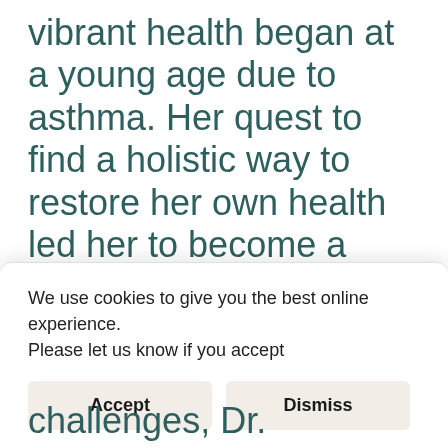vibrant health began at a young age due to asthma. Her quest to find a holistic way to restore her own health led her to become a healthcare practitioner who focuses on root causes
We use cookies to give you the best online experience.
Please let us know if you accept
Accept
Dismiss
challenges, Dr.